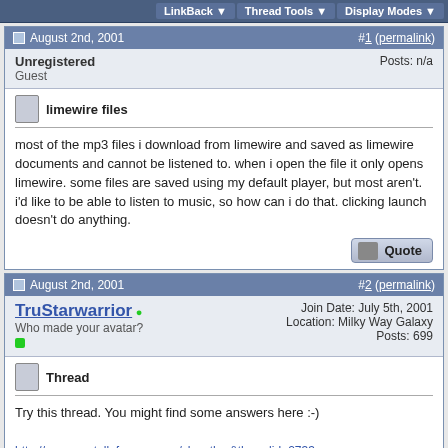LinkBack | Thread Tools | Display Modes
August 2nd, 2001  #1 (permalink)
Unregistered
Guest
Posts: n/a
limewire files
most of the mp3 files i download from limewire and saved as limewire documents and cannot be listened to. when i open the file it only opens limewire. some files are saved using my default player, but most aren't. i'd like to be able to listen to music, so how can i do that. clicking launch doesn't do anything.
August 2nd, 2001  #2 (permalink)
TruStarwarrior
Who made your avatar?
Join Date: July 5th, 2001
Location: Milky Way Galaxy
Posts: 699
Thread
Try this thread. You might find some answers here :-)
http://www.gnutellaforums.com/showth...&threadid=2733